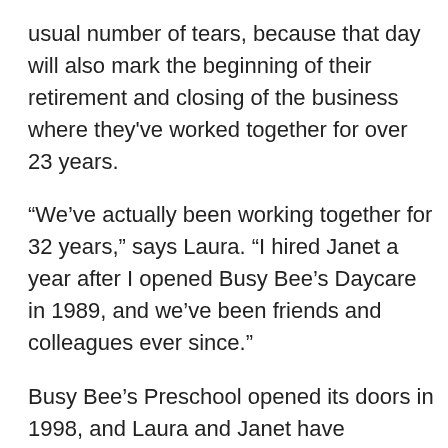usual number of tears, because that day will also mark the beginning of their retirement and closing of the business where they've worked together for over 23 years.
“We’ve actually been working together for 32 years,” says Laura. “I hired Janet a year after I opened Busy Bee’s Daycare in 1989, and we’ve been friends and colleagues ever since.”
Busy Bee’s Preschool opened its doors in 1998, and Laura and Janet have prepared many of Powell River’s children for success in the school system, as well as fostered friendships and helped them gain confidence.
“We hope that we’ve had a positive impact on the kids, and in turn a positive impact on the community,” says Laura. “It’s an emotional job, but we’ve had so much